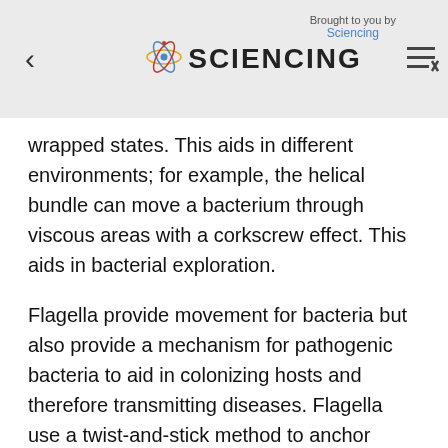SCIENCING | Brought to you by Sciencing
wrapped states. This aids in different environments; for example, the helical bundle can move a bacterium through viscous areas with a corkscrew effect. This aids in bacterial exploration.
Flagella provide movement for bacteria but also provide a mechanism for pathogenic bacteria to aid in colonizing hosts and therefore transmitting diseases. Flagella use a twist-and-stick method to anchor bacteria onto surfaces. Flagella also function as bridges or scaffolds for adhesion to host tissue.
Eukaryotic flagella diverge from prokaryotes in